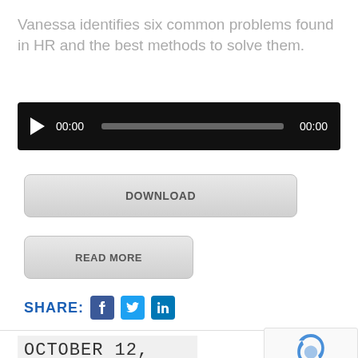Vanessa identifies six common problems found in HR and the best methods to solve them.
[Figure (screenshot): Audio player widget with dark background, play button, time display 00:00, progress bar, and end time 00:00]
DOWNLOAD
READ MORE
SHARE: [Facebook] [Twitter] [LinkedIn]
OCTOBER 12, 2016